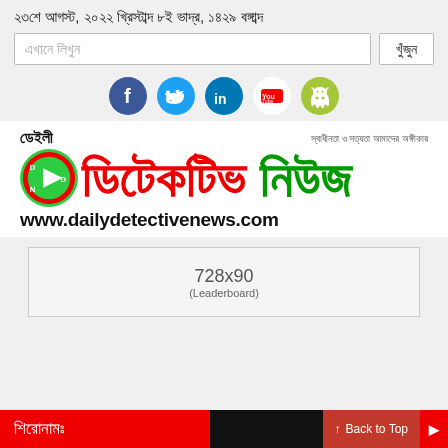২৩শে আগস্ট, ২০২২ খ্রিস্টাব্দ ৮ই ভাদ্র, ১৪২৯ বঙ্গাব্দ
[Figure (logo): Daily Detective News logo with Bengali text, circular emblem, red and green colors, and website URL www.dailydetectivenews.com]
[Figure (infographic): 728x90 Leaderboard advertisement placeholder]
শিরোনামঃ